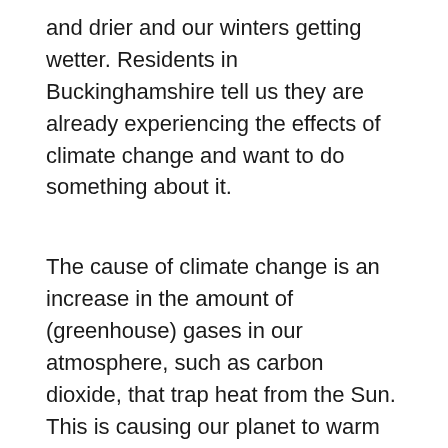and drier and our winters getting wetter. Residents in Buckinghamshire tell us they are already experiencing the effects of climate change and want to do something about it.
The cause of climate change is an increase in the amount of (greenhouse) gases in our atmosphere, such as carbon dioxide, that trap heat from the Sun. This is causing our planet to warm up and the permanent ice on it to melt. The increase in greenhouse gases is caused by human activity.
Reaching net zero carbon emissions means taking as much carbon out of the atmosphere as we put into it.